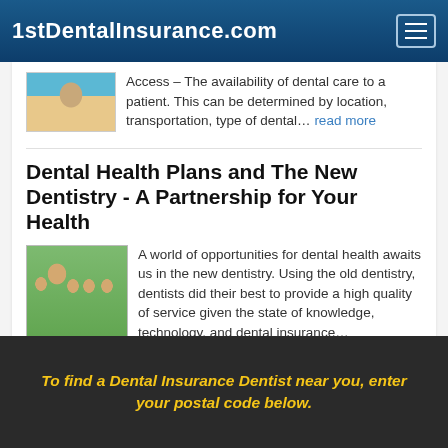1stDentalInsurance.com
Access – The availability of dental care to a patient. This can be determined by location, transportation, type of dental… read more
Dental Health Plans and The New Dentistry - A Partnership for Your Health
A world of opportunities for dental health awaits us in the new dentistry. Using the old dentistry, dentists did their best to provide a high quality of service given the state of knowledge, technology, and dental insurance… read more
To find a Dental Insurance Dentist near you, enter your postal code below.